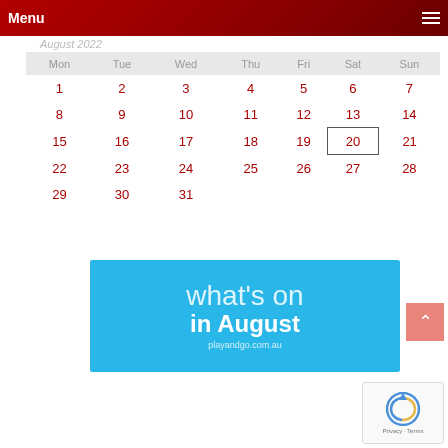Menu
August 2022
| Mon | Tue | Wed | Thu | Fri | Sat | Sun |
| --- | --- | --- | --- | --- | --- | --- |
| 1 | 2 | 3 | 4 | 5 | 6 | 7 |
| 8 | 9 | 10 | 11 | 12 | 13 | 14 |
| 15 | 16 | 17 | 18 | 19 | 20 | 21 |
| 22 | 23 | 24 | 25 | 26 | 27 | 28 |
| 29 | 30 | 31 |  |  |  |  |
[Figure (infographic): Blue banner reading 'what's on in August' with URL playandgo.com.au]